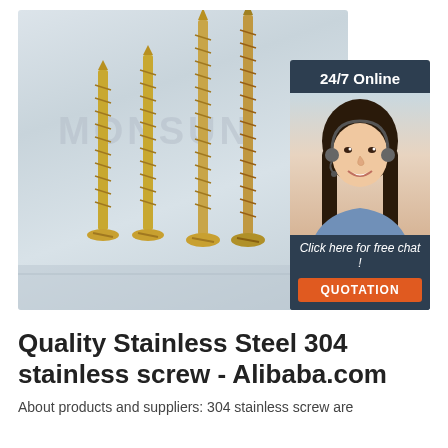[Figure (photo): Product photo showing four gold/brass-colored stainless steel wood screws of increasing heights arranged side by side, with a MONSUN watermark in the background. An overlay panel on the right shows a customer service agent with '24/7 Online' text, 'Click here for free chat!' text, and an orange QUOTATION button.]
Quality Stainless Steel 304 stainless screw - Alibaba.com
About products and suppliers: 304 stainless screw are